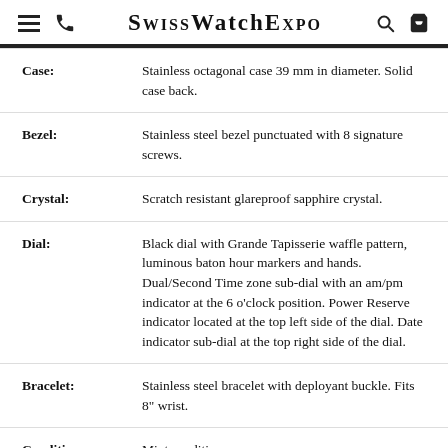SwissWatchExpo
| Attribute | Description |
| --- | --- |
| Case: | Stainless octagonal case 39 mm in diameter. Solid case back. |
| Bezel: | Stainless steel bezel punctuated with 8 signature screws. |
| Crystal: | Scratch resistant glareproof sapphire crystal. |
| Dial: | Black dial with Grande Tapisserie waffle pattern, luminous baton hour markers and hands. Dual/Second Time zone sub-dial with an am/pm indicator at the 6 o'clock position. Power Reserve indicator located at the top left side of the dial. Date indicator sub-dial at the top right side of the dial. |
| Bracelet: | Stainless steel bracelet with deployant buckle. Fits 8" wrist. |
| Condition: | Mint condition. |
| Engravings: | None |